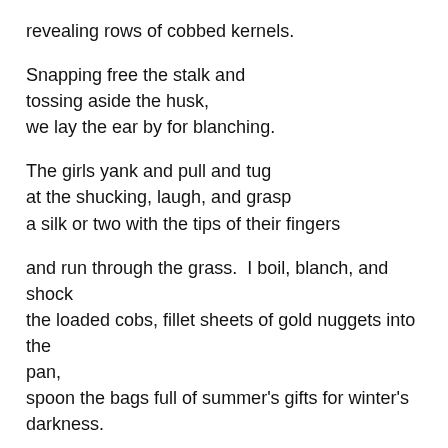revealing rows of cobbed kernels.
Snapping free the stalk and
tossing aside the husk,
we lay the ear by for blanching.
The girls yank and pull and tug
at the shucking, laugh, and grasp
a silk or two with the tips of their fingers
and run through the grass.  I boil, blanch, and shock
the loaded cobs, fillet sheets of gold nuggets into the pan,
spoon the bags full of summer's gifts for winter's darkness.
I fill these poems with yanking, pulling, tugging,
shucking, laughing, grasping, running,